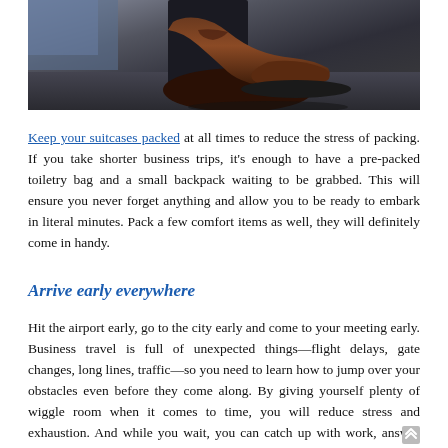[Figure (photo): Close-up photo of a brown leather dress shoe/oxford on a dark floor, shot from a low angle]
Keep your suitcases packed at all times to reduce the stress of packing. If you take shorter business trips, it's enough to have a pre-packed toiletry bag and a small backpack waiting to be grabbed. This will ensure you never forget anything and allow you to be ready to embark in literal minutes. Pack a few comfort items as well, they will definitely come in handy.
Arrive early everywhere
Hit the airport early, go to the city early and come to your meeting early. Business travel is full of unexpected things—flight delays, gate changes, long lines, traffic—so you need to learn how to jump over your obstacles even before they come along. By giving yourself plenty of wiggle room when it comes to time, you will reduce stress and exhaustion. And while you wait, you can catch up with work, answer emails, finish writing your blog post or edit your column.